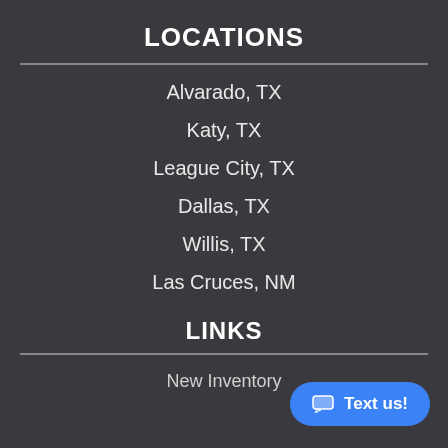LOCATIONS
Alvarado, TX
Katy, TX
League City, TX
Dallas, TX
Willis, TX
Las Cruces, NM
LINKS
New Inventory
Text us!